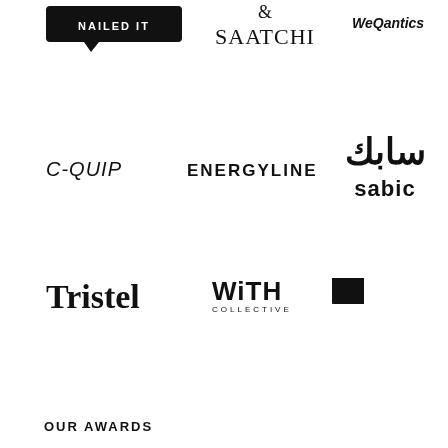[Figure (logo): Nailed It logo - black speech bubble shape with 'NAILED IT' text in white]
[Figure (logo): Saatchi & Saatchi logo - ampersand and SAATCHI text in serif font]
[Figure (logo): WeQantics logo - bold stylized text]
[Figure (logo): C-Quip logo - italic stylized text]
[Figure (logo): Energyline logo - clean sans-serif text]
[Figure (logo): SABIC logo - Arabic script above and 'sabic' in stylized Latin below]
[Figure (logo): Tristel logo - bold serif font]
[Figure (logo): WiTH Collective logo - bold text with geometric arrow/chevron]
OUR AWARDS